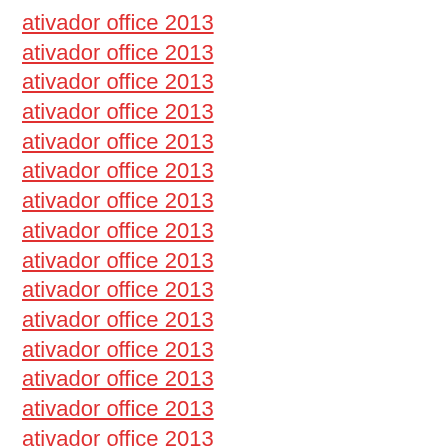ativador office 2013
ativador office 2013
ativador office 2013
ativador office 2013
ativador office 2013
ativador office 2013
ativador office 2013
ativador office 2013
ativador office 2013
ativador office 2013
ativador office 2013
ativador office 2013
ativador office 2013
ativador office 2013
ativador office 2013